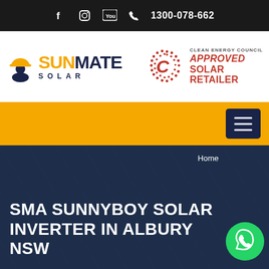f  [instagram]  [youtube]  1300-078-662
[Figure (logo): Sunmate Solar logo with hard hat icon and yellow/navy text, alongside Clean Energy Council Approved Solar Retailer badge]
[Figure (other): Yellow navigation bar with dark navy hamburger menu button on the right]
SMA SUNNYBOY SOLAR INVERTER IN ALBURY NSW
Home